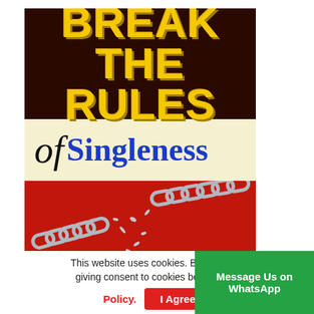[Figure (illustration): Book cover for 'Break the Rules of Singleness'. Top section has dark brown background with bold yellow text reading 'BREAK THE RULES'. Middle section has cream background with italic 'of' in black script and 'Singleness' in bold blue serif font. Bottom section has red background with a broken metal chain.]
This website uses cookies. By continuing you are giving consent to cookies being used.
Policy.
I Agree
Message Us on WhatsApp